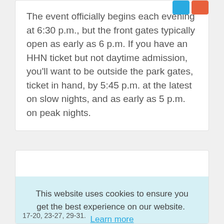The event officially begins each evening at 6:30 p.m., but the front gates typically open as early as 6 p.m. If you have an HHN ticket but not daytime admission, you'll want to be outside the park gates, ticket in hand, by 5:45 p.m. at the latest on slow nights, and as early as 5 p.m. on peak nights.
This website uses cookies to ensure you get the best experience on our website.  Learn more
Got it!
17-20, 23-27, 29-31.